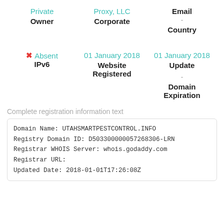Private Owner
Proxy, LLC Corporate
Email
-
Country
✗ Absent IPv6
01 January 2018 Website Registered
01 January 2018 Update
-
Domain Expiration
Complete registration information text
Domain Name: UTAHSMARTPESTCONTROL.INFO
Registry Domain ID: D503300000057268306-LRN
Registrar WHOIS Server: whois.godaddy.com
Registrar URL:
Updated Date: 2018-01-01T17:26:08Z